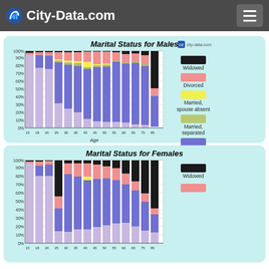City-Data.com
[Figure (stacked-bar-chart): Stacked bar chart showing marital status breakdown by age group for males.]
[Figure (stacked-bar-chart): Stacked bar chart showing marital status breakdown by age group for females (partially visible).]